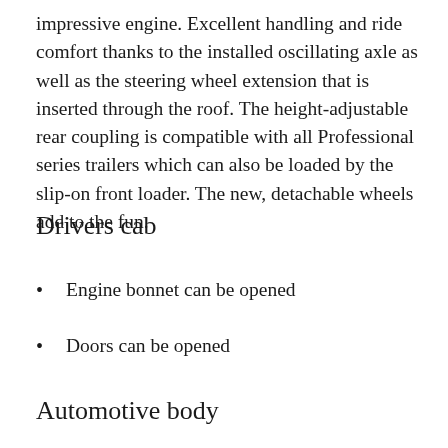impressive engine. Excellent handling and ride comfort thanks to the installed oscillating axle as well as the steering wheel extension that is inserted through the roof. The height-adjustable rear coupling is compatible with all Professional series trailers which can also be loaded by the slip-on front loader. The new, detachable wheels add to the fun.
Drivers cab
Engine bonnet can be opened
Doors can be opened
Automotive body